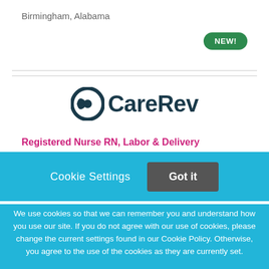Birmingham, Alabama
[Figure (logo): CareRev logo with stylized C icon and bold teal text]
Registered Nurse RN, Labor & Delivery
Cookie Settings   Got it
We use cookies so that we can remember you and understand how you use our site. If you do not agree with our use of cookies, please change the current settings found in our Cookie Policy. Otherwise, you agree to the use of the cookies as they are currently set.